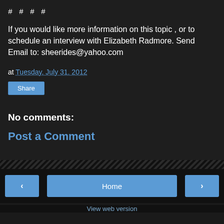# # # #
If you would like more information on this topic , or to schedule an interview with Elizabeth Radmore. Send Email to: sheerides@yahoo.com
at Tuesday, July 31, 2012
Share
No comments:
Post a Comment
‹
Home
›
View web version